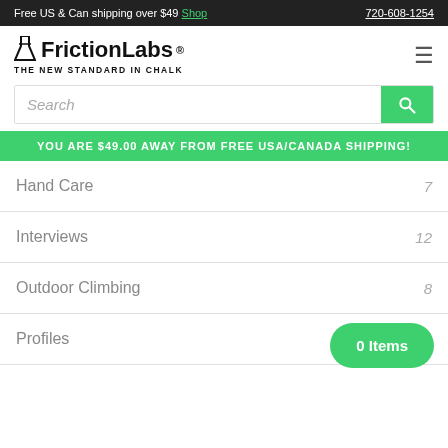Free US & Can shipping over $49 Shop  720-608-1254
FrictionLabs® THE NEW STANDARD IN CHALK
Search
YOU ARE $49.00 AWAY FROM FREE USA/CANADA SHIPPING!
Hand Care  7
Interviews  12
Outdoor Climbing  8
Profiles  13
0 Items